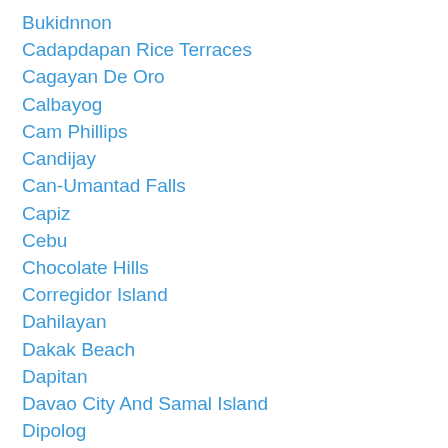Bukidnnon
Cadapdapan Rice Terraces
Cagayan De Oro
Calbayog
Cam Phillips
Candijay
Can-Umantad Falls
Capiz
Cebu
Chocolate Hills
Corregidor Island
Dahilayan
Dakak Beach
Dapitan
Davao City And Samal Island
Dipolog
Donsol
El Nido
Guimaras
Hinigaran